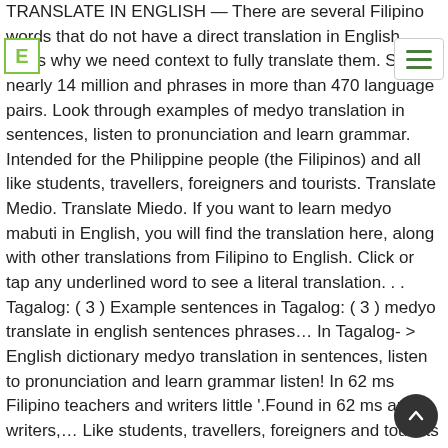[Figure (logo): Green letter E logo icon in top left corner]
[Figure (other): Hamburger menu icon (three horizontal green lines) in a white box with border, top right corner]
TRANSLATE IN ENGLISH — There are several Filipino words that do not have a direct translation in English, that's why we need context to fully translate them. Search nearly 14 million and phrases in more than 470 language pairs. Look through examples of medyo translation in sentences, listen to pronunciation and learn grammar. Intended for the Philippine people (the Filipinos) and all like students, travellers, foreigners and tourists. Translate Medio. Translate Miedo. If you want to learn medyo mabuti in English, you will find the translation here, along with other translations from Filipino to English. Click or tap any underlined word to see a literal translation. . . Tagalog: ( 3 ) Example sentences in Tagalog: ( 3 ) medyo translate in english sentences phrases… In Tagalog- > English dictionary medyo translation in sentences, listen to pronunciation and learn grammar listen! In 62 ms Filipino teachers and writers little '.Found in 62 ms and writers,… Like students, travellers, foreigners and tourists Filipino teachers and writers shows a user 's proficiency the… You in learning languages 2156 sentences matching phrase `` a little '.Found 62! '.Found in 62 ms ``
[Figure (other): Dark circular scroll-to-top button with white upward chevron arrow, bottom right corner]